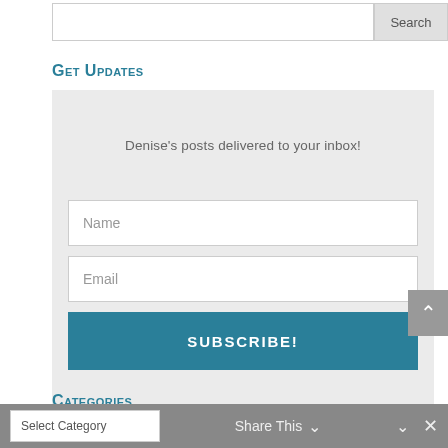[Figure (screenshot): Search bar with text input field and Search button]
Get Updates
Denise's posts delivered to your inbox!
Name
Email
SUBSCRIBE!
Categories
Select Category
Share This
[Figure (screenshot): Scroll to top button with upward chevron arrow]